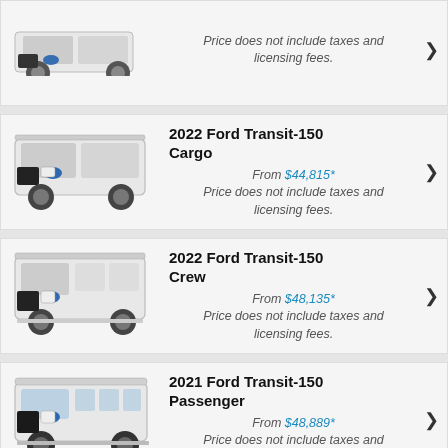[Figure (photo): Partial view of a white Ford Transit cargo van (cropped top card)]
Price does not include taxes and licensing fees.
2022 Ford Transit-150 Cargo
From $44,815*
Price does not include taxes and licensing fees.
[Figure (photo): White Ford Transit-150 Crew van]
2022 Ford Transit-150 Crew
From $48,135*
Price does not include taxes and licensing fees.
[Figure (photo): White Ford Transit-150 Passenger van]
2021 Ford Transit-150 Passenger
From $48,889*
Price does not include taxes and licensing fees.
[Figure (photo): Partial view of a white Ford Transit-250 van (cropped bottom card)]
2022 Ford Transit-250